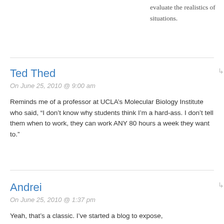evaluate the realistics of situations.
Ted Thed
On June 25, 2010 @ 9:00 am
Reminds me of a professor at UCLA’s Molecular Biology Institute who said, “I don’t know why students think I’m a hard-ass. I don’t tell them when to work, they can work ANY 80 hours a week they want to.”
Andrei
On June 25, 2010 @ 1:37 pm
Yeah, that’s a classic. I’ve started a blog to expose,